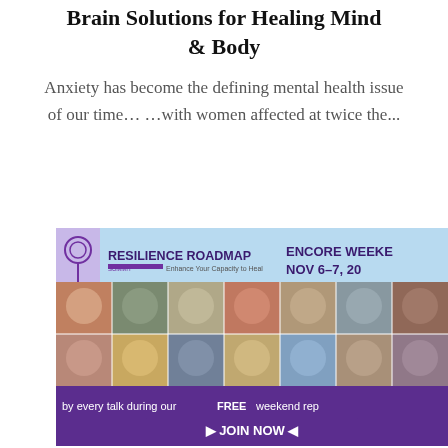Brain Solutions for Healing Mind & Body
Anxiety has become the defining mental health issue of our time… …with women affected at twice the...
[Figure (infographic): Resilience Roadmap Summit banner showing 'ENCORE WEEKEND NOV 6-7, 20...' with a grid of speaker headshots and text 'by every talk during our FREE weekend rep' and '> JOIN NOW <' button at the bottom on a purple background. Brain/fist logo on left side.]